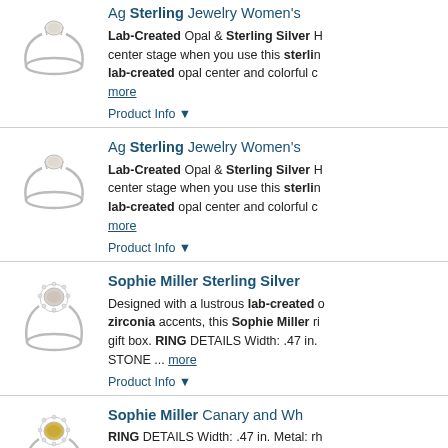[Figure (photo): Silver ring with small opal center stone]
Ag Sterling Jewelry Women's
Lab-Created Opal & Sterling Silver H center stage when you use this sterling lab-created opal center and colorful c more
Product Info ▼
[Figure (photo): Silver ring with small opal center stone]
Ag Sterling Jewelry Women's
Lab-Created Opal & Sterling Silver H center stage when you use this sterling lab-created opal center and colorful c more
Product Info ▼
[Figure (photo): Silver ring with large opal center stone and halo setting]
Sophie Miller Sterling Silver
Designed with a lustrous lab-created zirconia accents, this Sophie Miller r gift box. RING DETAILS Width: .47 in. STONE ... more
Product Info ▼
[Figure (photo): Silver ring with yellow canary center stone and halo of white stones]
Sophie Miller Canary and Wh
RING DETAILS Width: .47 in. Metal: rh ZIRCONIA DETAILS Cut: round Color Color: Yellow. Gender: female. Age Gr
Product Info ▼
Sophie Miller Sterling Silver